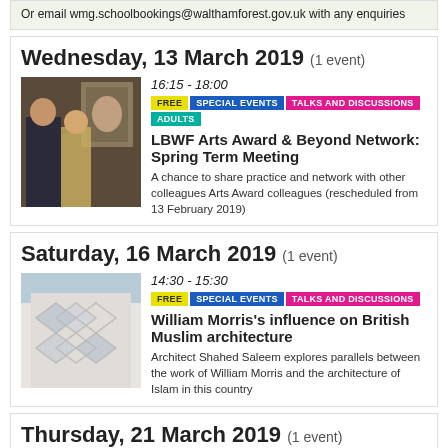Or email wmg.schoolbookings@walthamforest.gov.uk with any enquiries
Wednesday, 13 March 2019 (1 event)
[Figure (photo): Two people in an indoor setting, one pointing, in front of artwork on wall]
16:15 - 18:00
FREE SPECIAL EVENTS TALKS AND DISCUSSIONS ADULTS
LBWF Arts Award & Beyond Network: Spring Term Meeting
A chance to share practice and network with other colleagues Arts Award colleagues (rescheduled from 13 February 2019)
Saturday, 16 March 2019 (1 event)
[Figure (photo): White geometric patterned building facade, modern Islamic-influenced architecture]
14:30 - 15:30
FREE SPECIAL EVENTS TALKS AND DISCUSSIONS
William Morris's influence on British Muslim architecture
Architect Shahed Saleem explores parallels between the work of William Morris and the architecture of Islam in this country
Thursday, 21 March 2019 (1 event)
18:30 - 21:00